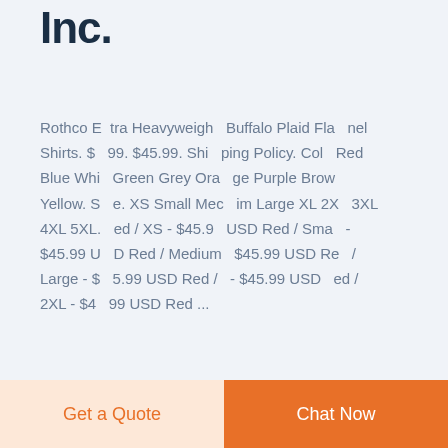Inc.
Rothco Extra Heavyweight Buffalo Plaid Flannel Shirts. $99. $45.99. Shipping Policy. Color Red Blue White Green Grey Orange Purple Brown Yellow. Size. XS Small Medium Large XL 2XL 3XL 4XL 5XL. Red / XS - $45.99 USD Red / Small - $45.99 USD Red / Medium $45.99 USD Red / Large - $45.99 USD Red / XL - $45.99 USD Red / 2XL - $45.99 USD Red ...
READ MORE
Get a Quote
Chat Now